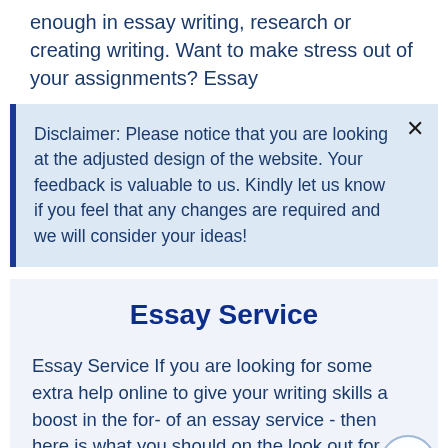enough in essay writing, research or creating writing. Want to make stress out of your assignments? Essay
Disclaimer: Please notice that you are looking at the adjusted design of the website. Your feedback is valuable to us. Kindly let us know if you feel that any changes are required and we will consider your ideas!
Essay Service
Essay Service If you are looking for some extra help online to give your writing skills a boost in the form of an essay service - then here is what you should on the look out for. Make sure that you have accessed a premier academic writing service that offers the finest essay service for coursework and